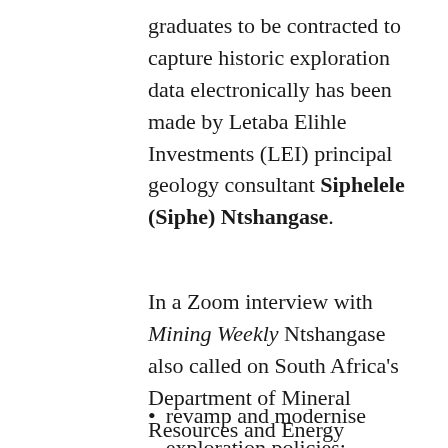graduates to be contracted to capture historic exploration data electronically has been made by Letaba Elihle Investments (LEI) principal geology consultant Siphelele (Siphe) Ntshangase.
In a Zoom interview with Mining Weekly Ntshangase also called on South Africa's Department of Mineral Resources and Energy (DMRE) to:
revamp and modernise exploration policies;